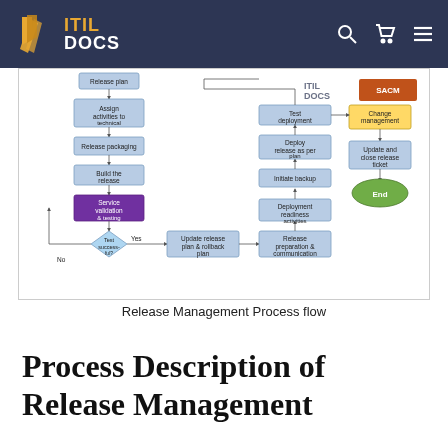ITIL DOCS
[Figure (flowchart): Release Management Process flow diagram showing steps including: Assign activities to technical teams, Release packaging, Build the release, Service validation & testing, Test successful (diamond), Update release plan & rollback plan, Test deployment, Deploy release as per plan, Initiate backup, Deployment readiness activities, Release preparation & communication, Change management, Update and close release ticket, End. Also shows SACM label and No/Yes decision paths.]
Release Management Process flow
Process Description of Release Management